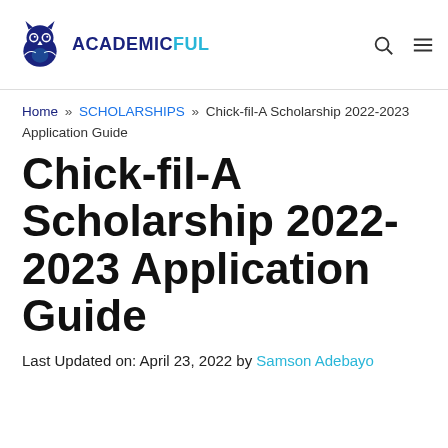ACADEMICFUL
Home » SCHOLARSHIPS » Chick-fil-A Scholarship 2022-2023 Application Guide
Chick-fil-A Scholarship 2022-2023 Application Guide
Last Updated on: April 23, 2022 by Samson Adebayo